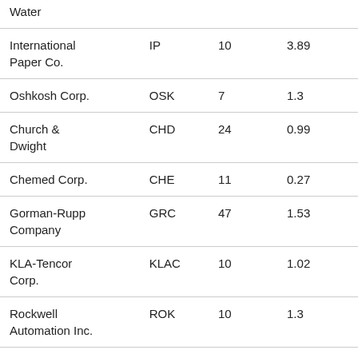| Water |  |  |  |
| International Paper Co. | IP | 10 | 3.89 |
| Oshkosh Corp. | OSK | 7 | 1.3 |
| Church & Dwight | CHD | 24 | 0.99 |
| Chemed Corp. | CHE | 11 | 0.27 |
| Gorman-Rupp Company | GRC | 47 | 1.53 |
| KLA-Tencor Corp. | KLAC | 10 | 1.02 |
| Rockwell Automation Inc. | ROK | 10 | 1.3 |